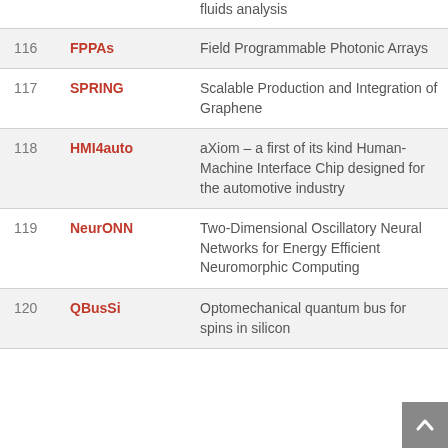| # | Acronym | Description |
| --- | --- | --- |
|  |  | fluids analysis |
| 116 | FPPAs | Field Programmable Photonic Arrays |
| 117 | SPRING | Scalable Production and Integration of Graphene |
| 118 | HMI4auto | aXiom – a first of its kind Human-Machine Interface Chip designed for the automotive industry |
| 119 | NeurONN | Two-Dimensional Oscillatory Neural Networks for Energy Efficient Neuromorphic Computing |
| 120 | QBusSi | Optomechanical quantum bus for spins in silicon |